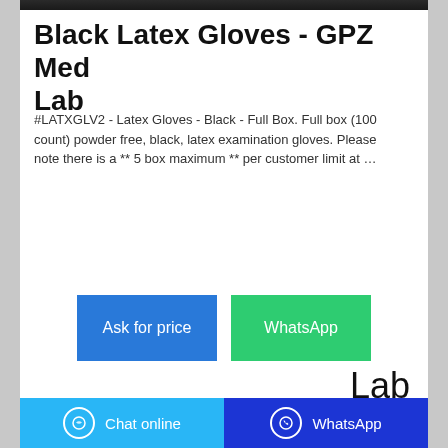[Figure (photo): Partial product photo at top of page (dark background, cropped)]
Black Latex Gloves - GPZ Med Lab
#LATXGLV2 - Latex Gloves - Black - Full Box. Full box (100 count) powder free, black, latex examination gloves. Please note there is a ** 5 box maximum ** per customer limit at ...
[Figure (screenshot): Ask for price and WhatsApp buttons]
Lab
[Figure (photo): Blue latex gloves photo partially visible at bottom]
Chat online   WhatsApp